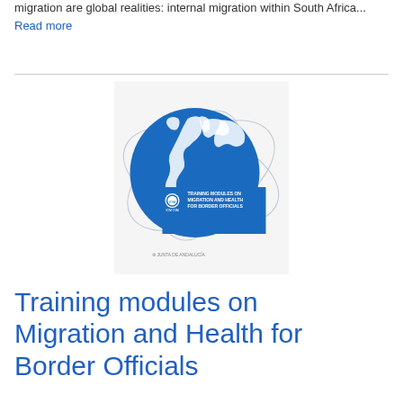migration are global realities: internal migration within South Africa...
Read more
[Figure (illustration): Book cover for 'Training Modules on Migration and Health for Border Officials' by IOM-OIM, featuring a globe showing Earth with blue oceans and white continents, with orbital rings around it, and a blue rectangular label with the title text and IOM logo.]
Training modules on Migration and Health for Border Officials